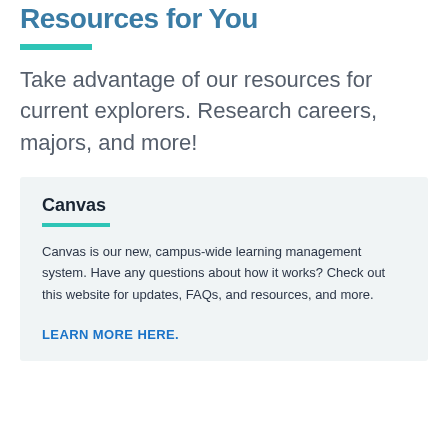Resources for You
Take advantage of our resources for current explorers. Research careers, majors, and more!
Canvas
Canvas is our new, campus-wide learning management system. Have any questions about how it works? Check out this website for updates, FAQs, and resources, and more.
LEARN MORE HERE.